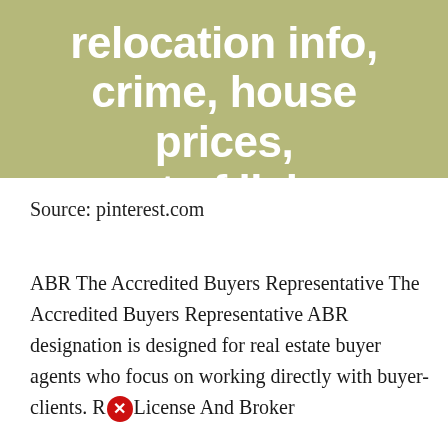[Figure (illustration): Olive/khaki green background tile with white bold text reading 'relocation info, crime, house prices, cost of living, race...']
Source: pinterest.com
ABR The Accredited Buyers Representative The Accredited Buyers Representative ABR designation is designed for real estate buyer agents who focus on working directly with buyer-clients. RE License And Broker